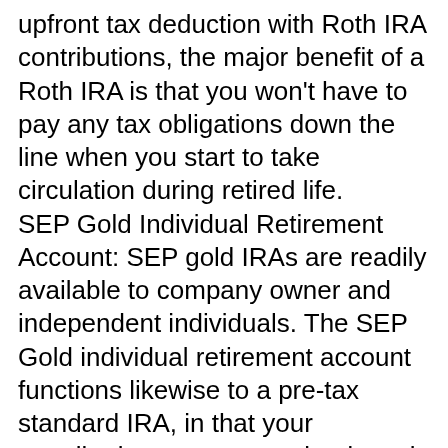upfront tax deduction with Roth IRA contributions, the major benefit of a Roth IRA is that you won't have to pay any tax obligations down the line when you start to take circulation during retired life. SEP Gold Individual Retirement Account: SEP gold IRAs are readily available to company owner and independent individuals. The SEP Gold individual retirement account functions likewise to a pre-tax standard IRA, in that your contributions are not strained, yet it uses higher contribution limitations. Instead of the $5,500 limitation, you can contribute up to 25% of your income or $53,000, whichever is less. Allegiance Gold can aid you navigate governing needs, stay clear of tax obligation mistakes as well as branch out with physical